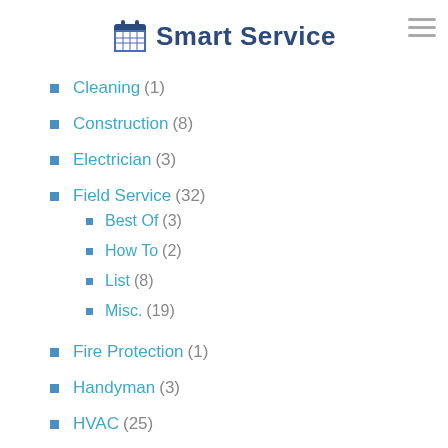Smart Service
Cleaning (1)
Construction (8)
Electrician (3)
Field Service (32)
Best Of (3)
How To (2)
List (8)
Misc. (19)
Fire Protection (1)
Handyman (3)
HVAC (25)
Lawn Care (3)
Pest Control (1)